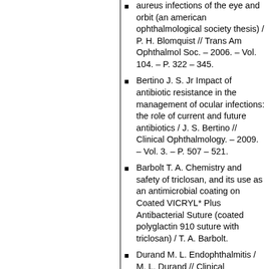aureus infections of the eye and orbit (an american ophthalmological society thesis) / P. H. Blomquist // Trans Am Ophthalmol Soc. – 2006. – Vol. 104. – P. 322 – 345.
Bertino J. S. Jr Impact of antibiotic resistance in the management of ocular infections: the role of current and future antibiotics / J. S. Bertino // Clinical Ophthalmology. – 2009. – Vol. 3. – P. 507 – 521.
Barbolt T. A. Chemistry and safety of triclosan, and its use as an antimicrobial coating on Coated VICRYL* Plus Antibacterial Suture (coated polyglactin 910 suture with triclosan) / T. A. Barbolt.
Durand M. L. Endophthalmitis / M. L. Durand // Clinical Microbiology and Infection. – 2013. – Vol. 19. – № 3. – P. 227 – 234.
Cakir M. An outbreak of